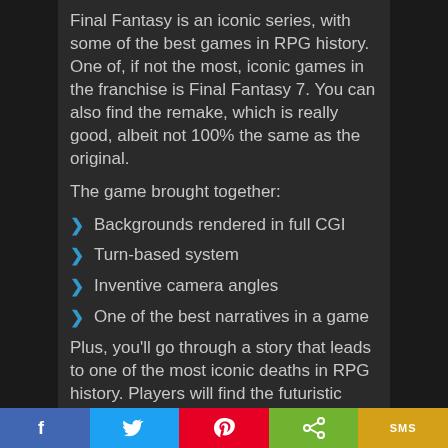Final Fantasy is an iconic series, with some of the best games in RPG history. One of, if not the most, iconic games in the franchise is Final Fantasy 7. You can also find the remake, which is really good, albeit not 100% the same as the original.
The game brought together:
Backgrounds rendered in full CGI
Turn-based system
Inventive camera angles
One of the best narratives in a game
Plus, you'll go through a story that leads to one of the most iconic deaths in RPG history. Players will find the futuristic Midgar to be an enveloping environment, with players controlling Cloud Strife as